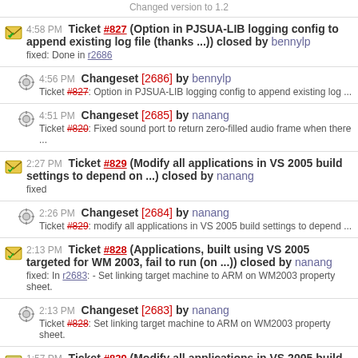Changed version to 1.2
4:58 PM Ticket #827 (Option in PJSUA-LIB logging config to append existing log file (thanks ...)) closed by bennylp
fixed: Done in r2686
4:56 PM Changeset [2686] by bennylp
Ticket #827: Option in PJSUA-LIB logging config to append existing log ...
4:51 PM Changeset [2685] by nanang
Ticket #820: Fixed sound port to return zero-filled audio frame when there ...
2:27 PM Ticket #829 (Modify all applications in VS 2005 build settings to depend on ...) closed by nanang
fixed
2:26 PM Changeset [2684] by nanang
Ticket #829: modify all applications in VS 2005 build settings to depend ...
2:13 PM Ticket #828 (Applications, built using VS 2005 targeted for WM 2003, fail to run (on ...)) closed by nanang
fixed: In r2683: - Set linking target machine to ARM on WM2003 property sheet.
2:13 PM Changeset [2683] by nanang
Ticket #828: Set linking target machine to ARM on WM2003 property sheet.
1:57 PM Ticket #829 (Modify all applications in VS 2005 build settings to depend on ...) created by nanang
1:55 PM Ticket #828 (Applications, built using VS 2005 targeted for WM 2003, ...